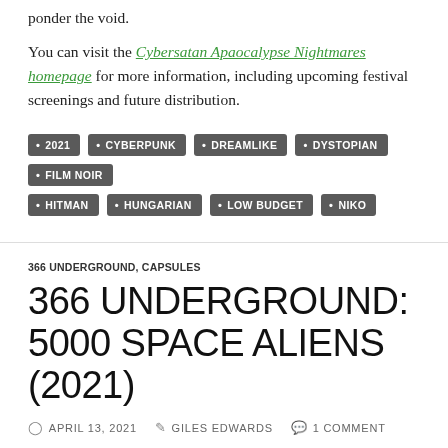ponder the void.
You can visit the Cybersatan Apaocalypse Nightmares homepage for more information, including upcoming festival screenings and future distribution.
2021
CYBERPUNK
DREAMLIKE
DYSTOPIAN
FILM NOIR
HITMAN
HUNGARIAN
LOW BUDGET
NIKO
366 UNDERGROUND, CAPSULES
366 UNDERGROUND: 5000 SPACE ALIENS (2021)
APRIL 13, 2021   GILES EDWARDS   1 COMMENT